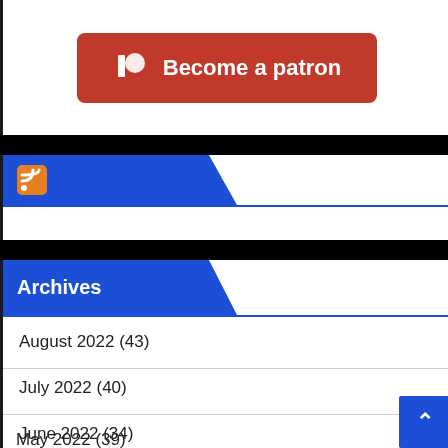[Figure (logo): Patreon 'Become a patron' orange button with Patreon logo icon on left and bold white text]
[Figure (logo): RSS feed icon (orange square with white WiFi-like signal arcs) inside a blue banner header]
Archives
August 2022 (43)
July 2022 (40)
June 2022 (34)
May 2022 (39)